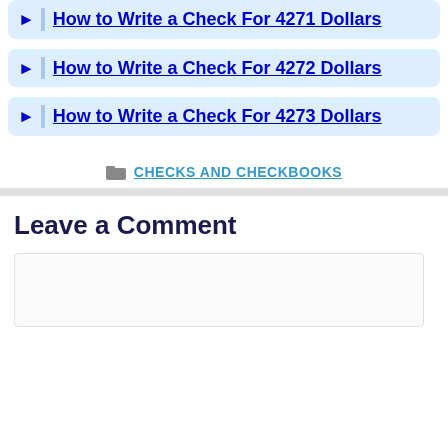How to Write a Check For 4271 Dollars
How to Write a Check For 4272 Dollars
How to Write a Check For 4273 Dollars
CHECKS AND CHECKBOOKS
Leave a Comment